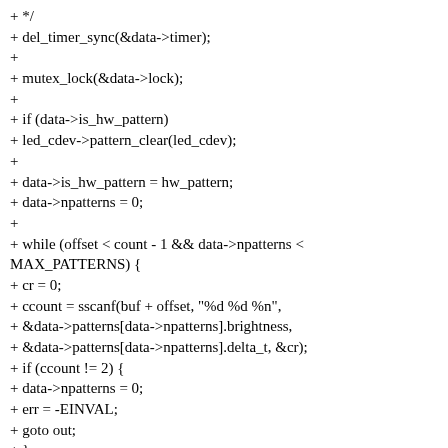+ */
+ del_timer_sync(&data->timer);
+
+ mutex_lock(&data->lock);
+
+ if (data->is_hw_pattern)
+ led_cdev->pattern_clear(led_cdev);
+
+ data->is_hw_pattern = hw_pattern;
+ data->npatterns = 0;
+
+ while (offset < count - 1 && data->npatterns < MAX_PATTERNS) {
+ cr = 0;
+ ccount = sscanf(buf + offset, "%d %d %n",
+ &data->patterns[data->npatterns].brightness,
+ &data->patterns[data->npatterns].delta_t, &cr);
+ if (ccount != 2) {
+ data->npatterns = 0;
+ err = -EINVAL;
+ goto out;
+ }
+
+ offset += cr;
+ data->npatterns++;
+ + }